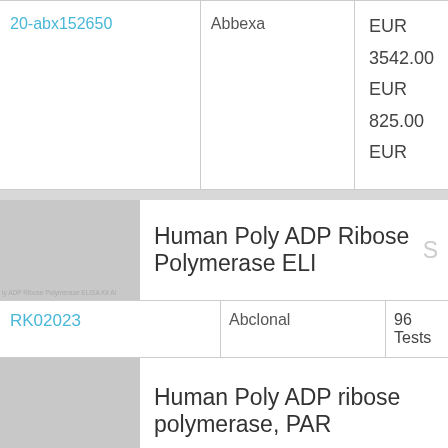| Product Code | Supplier | Price |
| --- | --- | --- |
| 20-abx152650 | Abbexa | EUR 3542.00 EUR 825.00 EUR |
[Figure (photo): Product image thumbnail for Human Poly ADP Ribose Polymerase ELISA Kit]
Human Poly ADP Ribose Polymerase ELIS...
| Product Code | Supplier | Size |
| --- | --- | --- |
| RK02023 | Abclonal | 96 Tests |
[Figure (photo): Product image thumbnail for Human Poly ADP ribose polymerase, PARP ELISA]
Human Poly ADP ribose polymerase, PAR...